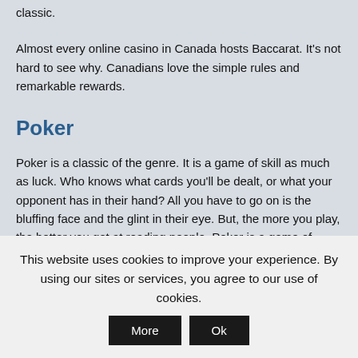classic.
Almost every online casino in Canada hosts Baccarat. It’s not hard to see why. Canadians love the simple rules and remarkable rewards.
Poker
Poker is a classic of the genre. It is a game of skill as much as luck. Who knows what cards you’ll be dealt, or what your opponent has in their hand? All you have to go on is the bluffing face and the glint in their eye. But, the more you play, the better you get at reading people. Poker is a game of psychology: a game where you need a steely gaze that
This website uses cookies to improve your experience. By using our sites or services, you agree to our use of cookies.